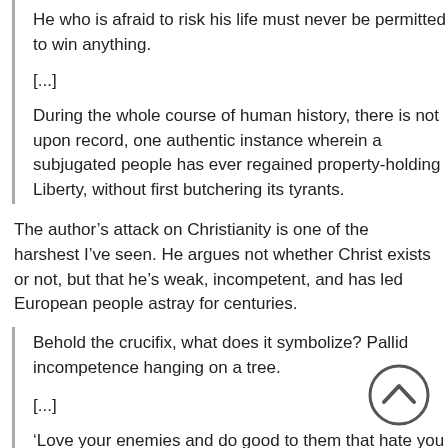He who is afraid to risk his life must never be permitted to win anything.
[...]
During the whole course of human history, there is not upon record, one authentic instance wherein a subjugated people has ever regained property-holding Liberty, without first butchering its tyrants.
The author’s attack on Christianity is one of the harshest I’ve seen. He argues not whether Christ exists or not, but that he’s weak, incompetent, and has led European people astray for centuries.
Behold the crucifix, what does it symbolize? Pallid incompetence hanging on a tree.
[...]
‘Love your enemies and do good to them that hate you